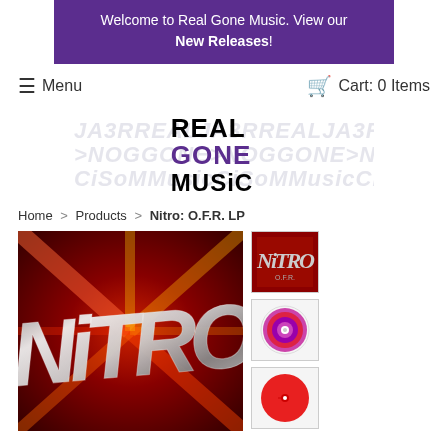Welcome to Real Gone Music. View our New Releases!
≡ Menu    🛒 Cart: 0 Items
[Figure (logo): Real Gone Music logo with repeated mirrored text background and main REAL GONE MUSIC text in black and purple]
Home > Products > Nitro: O.F.R. LP
[Figure (photo): Main product image: Nitro O.F.R. album cover with metallic 3D letters on red background]
[Figure (photo): Thumbnail 1: Nitro O.F.R. album cover small]
[Figure (photo): Thumbnail 2: Swirled purple/pink vinyl record]
[Figure (photo): Thumbnail 3: Red vinyl record]